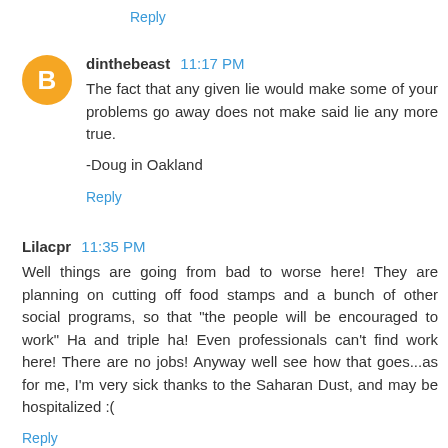Reply
dinthebeast  11:17 PM
The fact that any given lie would make some of your problems go away does not make said lie any more true.

-Doug in Oakland
Reply
Lilacpr  11:35 PM
Well things are going from bad to worse here! They are planning on cutting off food stamps and a bunch of other social programs, so that "the people will be encouraged to work" Ha and triple ha! Even professionals can't find work here! There are no jobs! Anyway well see how that goes...as for me, I'm very sick thanks to the Saharan Dust, and may be hospitalized :(
Reply